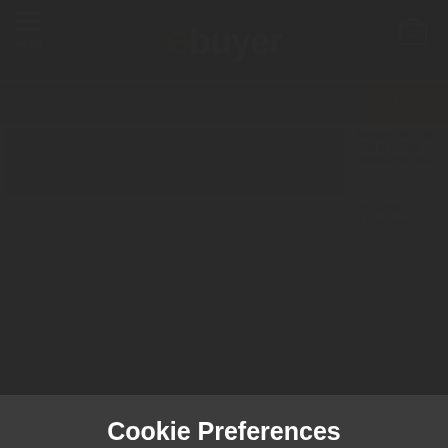ebuyer — MENU header with logo and cart
Kingston KC2500 2TB M.2-2280 NVMe PCIe SSD
Capacity: 2TB
Read Speed: 3500 MBps
Cookie Preferences
We use different types of cookies to optimise your experience on our website. Click the cookie settings button to learn more about their purpose. You may choose which types of cookies to allow and can change your preferences at any time. Remember that disabling cookies may affect your experience on the website. You can learn about how we use cookies by viewing our Cookie Policy.
Amend Your Preference
Accept All Cookies